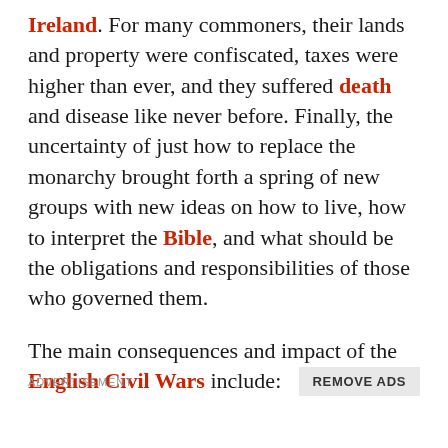Ireland. For many commoners, their lands and property were confiscated, taxes were higher than ever, and they suffered death and disease like never before. Finally, the uncertainty of just how to replace the monarchy brought forth a spring of new groups with new ideas on how to live, how to interpret the Bible, and what should be the obligations and responsibilities of those who governed them.
The main consequences and impact of the English Civil Wars include:
ADVERTISEMENT
REMOVE ADS